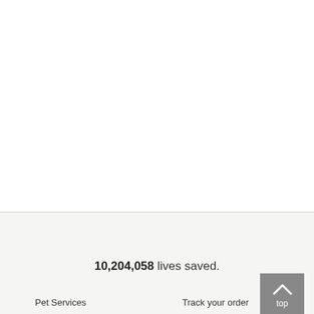10,204,058 lives saved.
top
Pet Services
Track your order